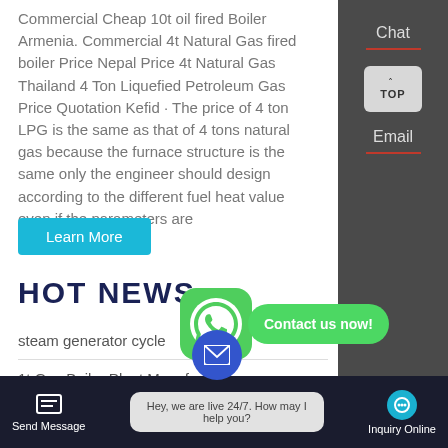Commercial Cheap 10t oil fired Boiler Armenia. Commercial 4t Natural Gas fired boiler Price Nepal Price 4t Natural Gas Thailand 4 Ton Liquefied Petroleum Gas Price Quotation Kefid · The price of 4 ton LPG is the same as that of 4 tons natural gas because the furnace structure is the same only the engineer should design according to the different fuel heat value even if the parameters are
Learn More
HOT NEWS
steam generator cycle
1t Gas Boiler Plant Manufactu... R...
1t Distributor Boiler Brand Tajikistan
[Figure (screenshot): WhatsApp icon with green Contact us now! button]
[Figure (screenshot): Bottom navigation bar with Send Message, live chat bubble saying Hey, we are live 24/7. How may I help you?, and Inquiry Online button]